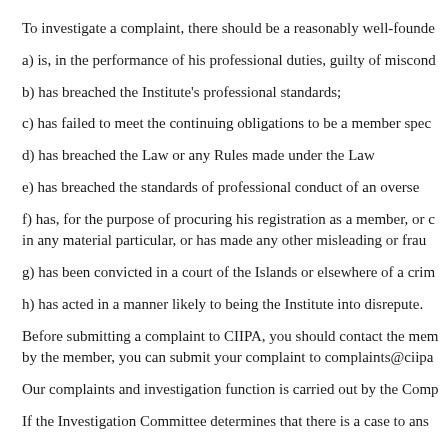To investigate a complaint, there should be a reasonably well-founde
a) is, in the performance of his professional duties, guilty of miscond
b) has breached the Institute's professional standards;
c) has failed to meet the continuing obligations to be a member spec
d) has breached the Law or any Rules made under the Law
e) has breached the standards of professional conduct of an overse
f) has, for the purpose of procuring his registration as a member, or c in any material particular, or has made any other misleading or frau
g) has been convicted in a court of the Islands or elsewhere of a crim
h) has acted in a manner likely to being the Institute into disrepute.
Before submitting a complaint to CIIPA, you should contact the mem by the member, you can submit your complaint to complaints@ciipa
Our complaints and investigation function is carried out by the Comp
If the Investigation Committee determines that there is a case to ans